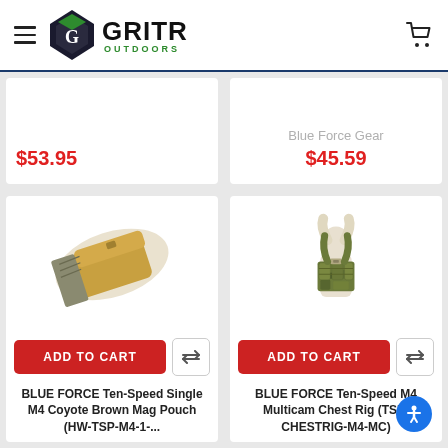GRITR OUTDOORS
[Figure (screenshot): Partial product card top-left showing price $53.95]
[Figure (screenshot): Partial product card top-right showing brand Blue Force Gear and price $45.59]
[Figure (photo): BLUE FORCE Ten-Speed Single M4 Coyote Brown Mag Pouch product image]
BLUE FORCE Ten-Speed Single M4 Coyote Brown Mag Pouch (HW-TSP-M4-1-...
[Figure (photo): BLUE FORCE Ten-Speed M4 Multicam Chest Rig product image displayed on mannequin]
BLUE FORCE Ten-Speed M4 Multicam Chest Rig (TSP-CHESTRIG-M4-MC)